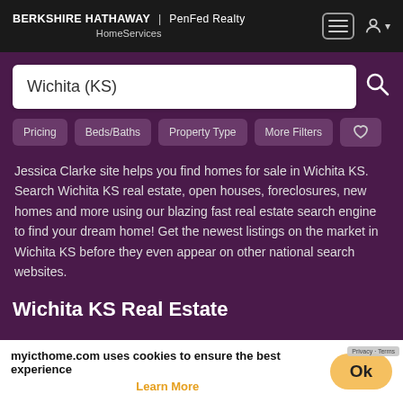BERKSHIRE HATHAWAY | PenFed Realty HomeServices
Wichita (KS)
Pricing
Beds/Baths
Property Type
More Filters
Jessica Clarke site helps you find homes for sale in Wichita KS. Search Wichita KS real estate, open houses, foreclosures, new homes and more using our blazing fast real estate search engine to find your dream home! Get the newest listings on the market in Wichita KS before they even appear on other national search websites.
Wichita KS Real Estate
Wichita KS Homes for Sale
Wichita KS Single Family Homes
Wichita KS Condos/Townhouses
Wichita KS Land
Wichita KS Open Houses
myicthome.com uses cookies to ensure the best experience
Learn More